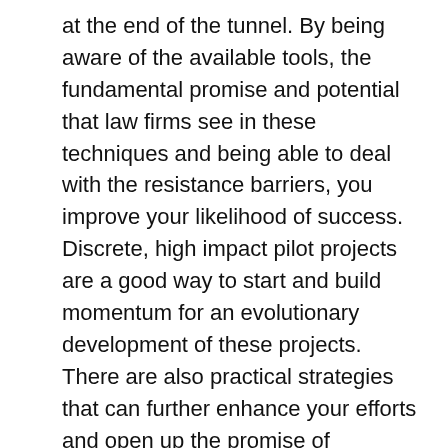at the end of the tunnel. By being aware of the available tools, the fundamental promise and potential that law firms see in these techniques and being able to deal with the resistance barriers, you improve your likelihood of success. Discrete, high impact pilot projects are a good way to start and build momentum for an evolutionary development of these projects. There are also practical strategies that can further enhance your efforts and open up the promise of knowledge management and artificial intelligence that many people see in the legal profession. Most important, there are others working on similar projects who are willing to share information and provide assistance. The future looks promising.